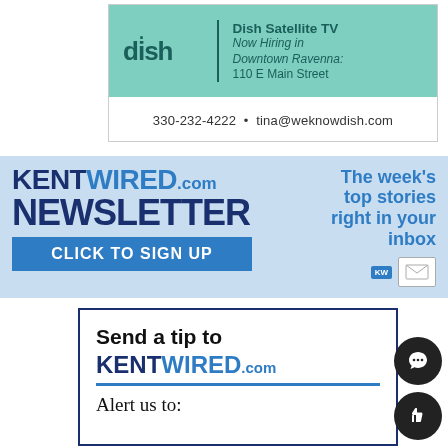[Figure (infographic): Dish Satellite TV advertisement. Teal background with dish logo, vertical divider, and text: Dish Satellite TV, Now Hiring in Downtown Ravenna: 110 E Main Street. Contact info: 330-232-4222 · tina@weknowdish.com]
[Figure (infographic): KentWired.com Newsletter advertisement on light blue background. Left side: KENTWIRED.com NEWSLETTER in dark blue and blue, CLICK TO SIGN UP button in blue. Right side: The week's top stories right in your inbox with KW envelope icon.]
[Figure (infographic): Send a tip to KENTWIRED.com advertisement. White box with dark blue border. Text: Send a tip to KENTWIRED.com (with blue underline), Alert us to:]